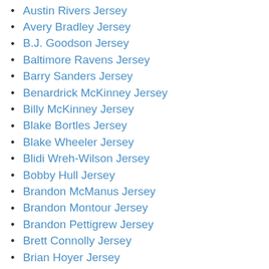Austin Rivers Jersey
Avery Bradley Jersey
B.J. Goodson Jersey
Baltimore Ravens Jersey
Barry Sanders Jersey
Benardrick McKinney Jersey
Billy McKinney Jersey
Blake Bortles Jersey
Blake Wheeler Jersey
Blidi Wreh-Wilson Jersey
Bobby Hull Jersey
Brandon McManus Jersey
Brandon Montour Jersey
Brandon Pettigrew Jersey
Brett Connolly Jersey
Brian Hoyer Jersey
Brice Johnson Jersey
Bruce Rondon Jersey
Bryan Little Jersey
Bryce Hager Jersey